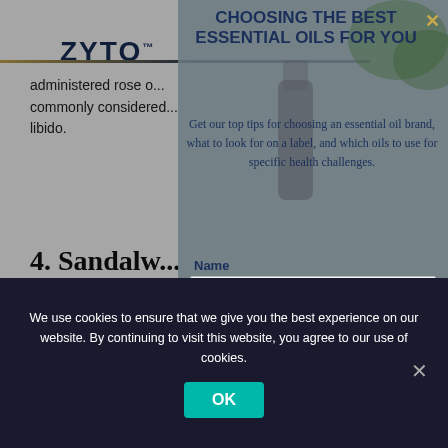ZYTO™
administered rose o... commonly considered... libido.
4. Sandalw...
[Figure (photo): Sandalwood chips/bark in a bowl]
CHOOSING THE BEST ESSENTIAL OILS FOR YOU
Get our top tips for choosing an essential oil brand, what to look for on a label, and which oils to use for specific health challenges.
Name
Email *
We use cookies to ensure that we give you the best experience on our website. By continuing to visit this website, you agree to our use of cookies.